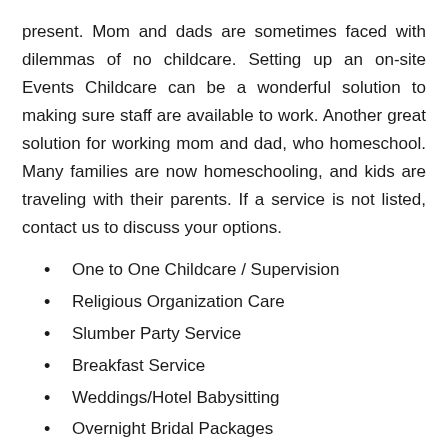present. Mom and dads are sometimes faced with dilemmas of no childcare. Setting up an on-site Events Childcare can be a wonderful solution to making sure staff are available to work. Another great solution for working mom and dad, who homeschool. Many families are now homeschooling, and kids are traveling with their parents. If a service is not listed, contact us to discuss your options.
One to One Childcare / Supervision
Religious Organization Care
Slumber Party Service
Breakfast Service
Weddings/Hotel Babysitting
Overnight Bridal Packages
Children's Birthday Parties
And more!!!!
Last minute childcare for unexpected time. Contact us for